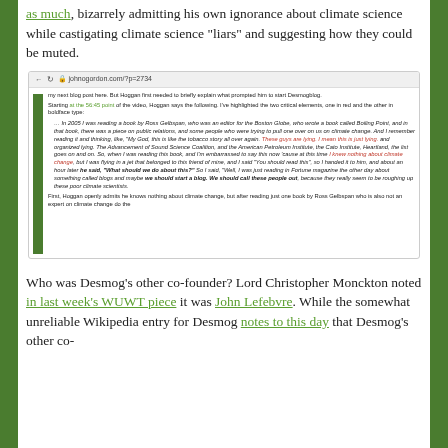as much, bizarrely admitting his own ignorance about climate science while castigating climate science “liars” and suggesting how they could be muted.
[Figure (screenshot): Browser screenshot of a blog post (johnogordon.com or similar) showing text about Hoggan admitting he knows nothing about climate change and a quote in italic text with red highlighted phrases 'These guys are lying. I mean this is just lying.' and 'I knew nothing about climate change', followed by commentary about starting Desmogblog.]
Who was Desmog’s other co-founder? Lord Christopher Monckton noted in last week’s WUWT piece it was John Lefebvre. While the somewhat unreliable Wikipedia entry for Desmog notes to this day that Desmog’s other co-founder...